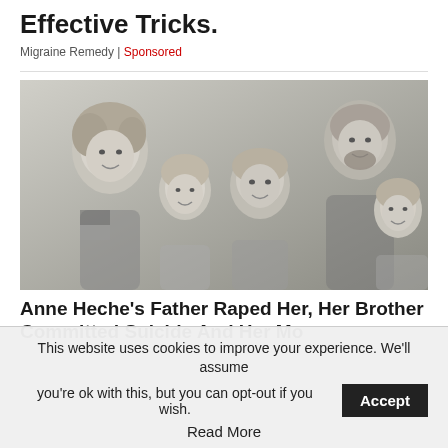Effective Tricks.
Migraine Remedy | Sponsored
[Figure (photo): Black and white family portrait photo showing a woman with curly hair, a bearded man, and three children smiling at the camera.]
Anne Heche's Father Raped Her, Her Brother Committed Suicide And Her Mo
This website uses cookies to improve your experience. We'll assume you're ok with this, but you can opt-out if you wish.
Accept
Read More